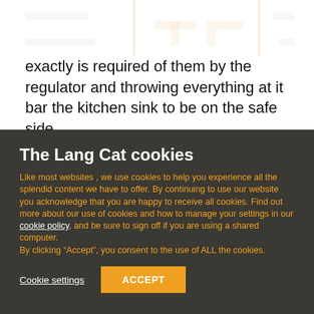exactly is required of them by the regulator and throwing everything at it bar the kitchen sink to be on the safe side.
The Lang Cat cookies
Like most websites , we use cookies to help you experience all the splendid content we have to offer. By continuing to use our website you acknowledge that you are happy to receive all cookies. Find out more about our use of cookies and how to manage your settings in our cookie policy, and be sure to sign off if you are using a shared computer.
By clicking “Accept”, you consent to the use of ALL the cookies.
Cookie settings
ACCEPT